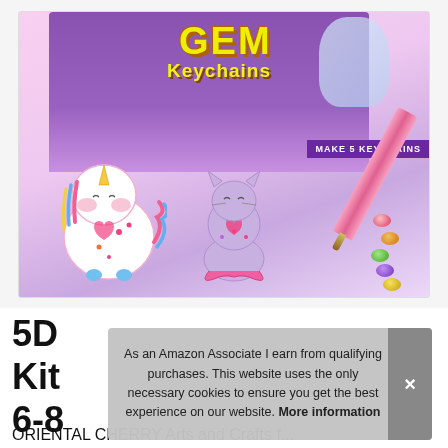[Figure (photo): Product photo of a 5D Diamond Painting Gem Keychains craft kit showing a box with unicorn and mermaid-cat keychains made of colorful rhinestones, along with a pink applicator pen and loose gems. Text on box reads 'GEM Keychains' and 'MAKE 5 KEYCHAINS'.]
5D...
As an Amazon Associate I earn from qualifying purchases. This website uses the only necessary cookies to ensure you get the best experience on our website. More information
ORIENTAL CHERRY Arts and Crafts f...